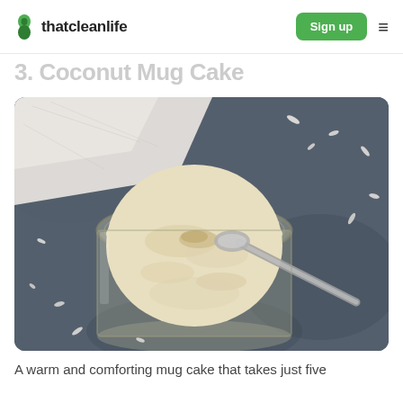thatcleanlife | Sign up
3. Coconut Mug Cake
[Figure (photo): Top-down view of a glass jar containing coconut mug cake with a spoon resting in it, on a dark grey stone surface with scattered coconut flakes and a white cloth napkin in the background.]
A warm and comforting mug cake that takes just five